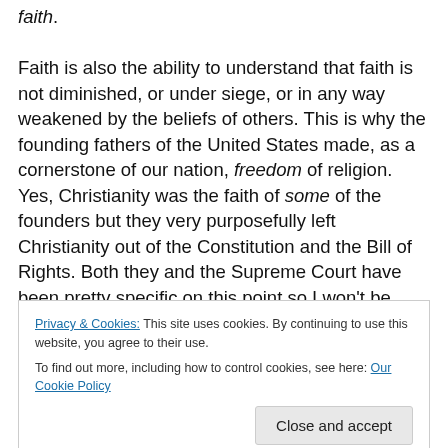faith. Faith is also the ability to understand that faith is not diminished, or under siege, or in any way weakened by the beliefs of others. This is why the founding fathers of the United States made, as a cornerstone of our nation, freedom of religion. Yes, Christianity was the faith of some of the founders but they very purposefully left Christianity out of the Constitution and the Bill of Rights. Both they and the Supreme Court have been pretty specific on this point so I won't be droll. Had the founders specified Christianity
Privacy & Cookies: This site uses cookies. By continuing to use this website, you agree to their use. To find out more, including how to control cookies, see here: Our Cookie Policy
upon. What they gave us was FREEDOM of religion and if